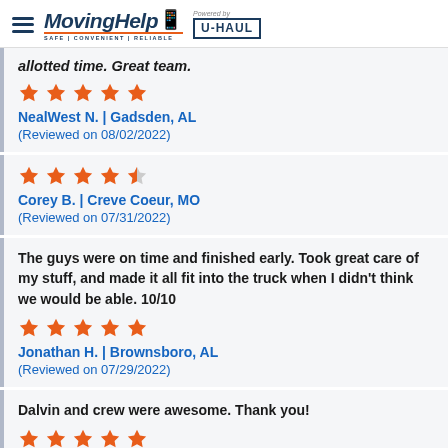MovingHelp | Powered by U-HAUL
allotted time. Great team.
★★★★★
NealWest N. | Gadsden, AL
(Reviewed on 08/02/2022)
★★★★½
Corey B. | Creve Coeur, MO
(Reviewed on 07/31/2022)
The guys were on time and finished early. Took great care of my stuff, and made it all fit into the truck when I didn't think we would be able. 10/10
★★★★★
Jonathan H. | Brownsboro, AL
(Reviewed on 07/29/2022)
Dalvin and crew were awesome. Thank you!
★★★★★